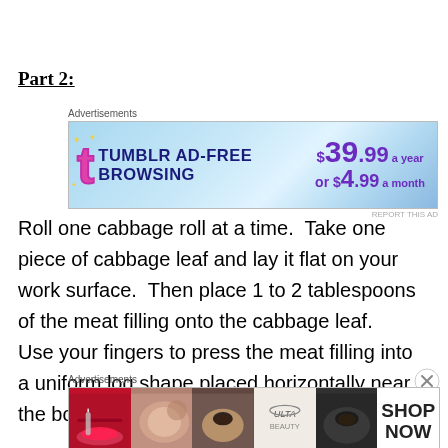Part 2:
[Figure (illustration): Tumblr Ad-Free Browsing advertisement banner: light blue gradient background, Tumblr 't' logo in pink, text 'TUMBLR AD-FREE BROWSING', price '$39.99 a year or $4.99 a month' in purple]
Roll one cabbage roll at a time.  Take one piece of cabbage leaf and lay it flat on your work surface.  Then place 1 to 2 tablespoons of the meat filling onto the cabbage leaf.  Use your fingers to press the meat filling into a uniform log shape placed horizontally near the bottom of the cabbage leaf.
[Figure (illustration): ULTA beauty advertisement banner with makeup-themed photos and 'SHOP NOW' text]